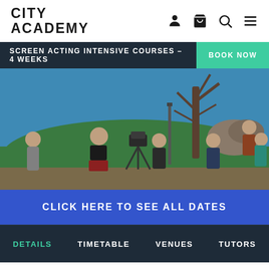CITY ACADEMY
SCREEN ACTING INTENSIVE COURSES – 4 WEEKS
BOOK NOW
[Figure (photo): Film crew and actors on outdoor set with camera on tripod, trees in background, blue sky. Multiple people in scene including a person in red plaid skirt posing near the camera.]
CLICK HERE TO SEE ALL DATES
DETAILS
TIMETABLE
VENUES
TUTORS